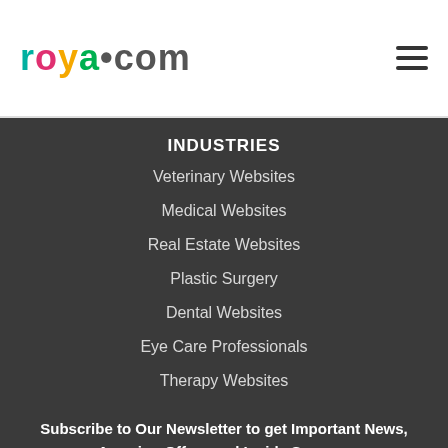[Figure (logo): roya.com logo in colorful letters with multicolor dots]
INDUSTRIES
Veterinary Websites
Medical Websites
Real Estate Websites
Plastic Surgery
Dental Websites
Eye Care Professionals
Therapy Websites
Subscribe to Our Newsletter to get Important News, Amazing Offers and Inside Scoops:
Enter email address